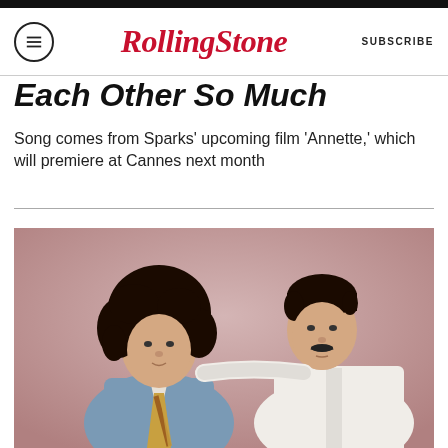RollingStone  SUBSCRIBE
Each Other So Much
Song comes from Sparks' upcoming film 'Annette,' which will premiere at Cannes next month
[Figure (photo): Two members of Sparks band posing together against a pink background, one with curly hair wearing a blue shirt and striped tie, the other with slicked back hair and mustache wearing a white jacket.]